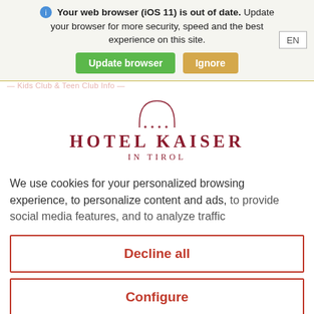[Figure (screenshot): Browser update notification banner with globe icon, text 'Your web browser (iOS 11) is out of date. Update your browser for more security, speed and the best experience on this site.' with green 'Update browser' button and tan 'Ignore' button, and an 'EN' language selector on the right.]
[Figure (logo): Hotel Kaiser in Tirol logo: arch/crown SVG icon with four stars, large dark red text HOTEL KAISER, subtitle IN TIROL]
We use cookies for your personalized browsing experience, to personalize content and ads, to provide social media features, and to analyze traffic
Decline all
Configure
Accept all